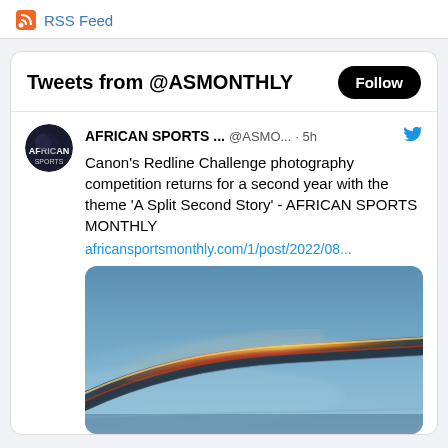RSS Feed
Tweets from @ASMONTHLY
AFRICAN SPORTS ... @ASMO... · 5h
Canon's Redline Challenge photography competition returns for a second year with the theme 'A Split Second Story' - AFRICAN SPORTS MONTHLY
africansportsmonthly.com/1/post/2022/08...
[Figure (photo): Long exposure photo of a bridge or road at night with light trails, bluish foggy atmosphere]